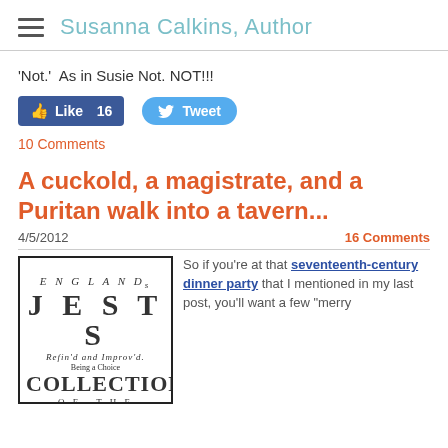Susanna Calkins, Author
'Not.'  As in Susie Not. NOT!!!
[Figure (screenshot): Facebook Like button showing 16 likes and Twitter Tweet button]
10 Comments
A cuckold, a magistrate, and a Puritan walk into a tavern...
4/5/2012
16 Comments
[Figure (photo): Title page of England's Jests Refin'd and Improv'd, Being a Choice Collection of the Merriest Jests, Smartest Repartees, Wittiest Sayings, and most No...]
So if you're at that seventeenth-century dinner party that I mentioned in my last post, you'll want a few "merry